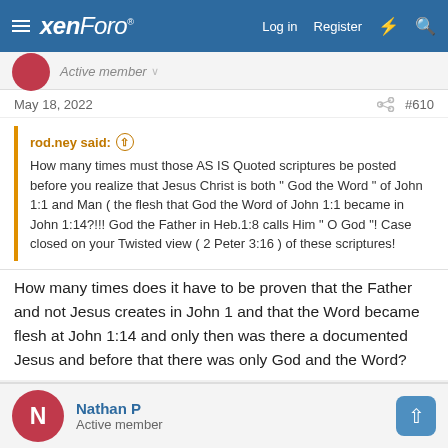xenForo Log in Register
Active member
May 18, 2022  #610
rod.ney said: ↑ How many times must those AS IS Quoted scriptures be posted before you realize that Jesus Christ is both " God the Word " of John 1:1 and Man ( the flesh that God the Word of John 1:1 became in John 1:14?!!! God the Father in Heb.1:8 calls Him " O God "! Case closed on your Twisted view ( 2 Peter 3:16 ) of these scriptures!
How many times does it have to be proven that the Father and not Jesus creates in John 1 and that the Word became flesh at John 1:14 and only then was there a documented Jesus and before that there was only God and the Word?
Nathan P Active member